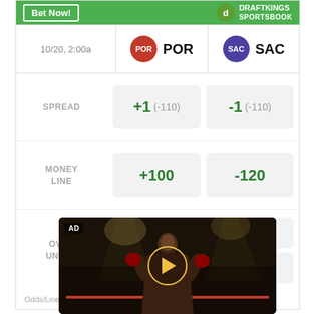[Figure (screenshot): DraftKings Sportsbook betting odds widget for POR vs SAC game on 10/20 at 2:00a. Shows spread: POR +1 (-110), SAC -1 (-110); Money Line: POR +100, SAC -120; Over/Under: >224 (-110), <224 (-110).]
Odds/Lines subject to change. See draftkings.com for details.
[Figure (photo): Video advertisement thumbnail showing a boxer (shirtless Black male athlete smiling) in a dark arena setting with stage lighting. AD badge in top-left. Yellow play button circle overlay in center.]